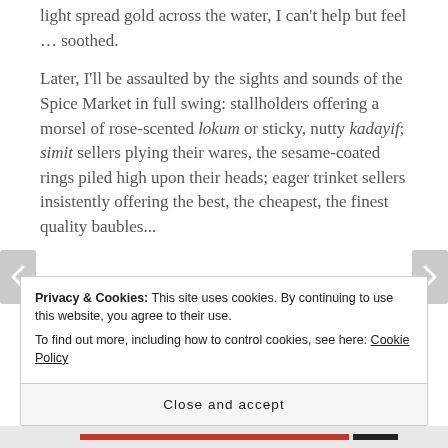light spread gold across the water, I can't help but feel … soothed.
Later, I'll be assaulted by the sights and sounds of the Spice Market in full swing: stallholders offering a morsel of rose-scented lokum or sticky, nutty kadayif; simit sellers plying their wares, the sesame-coated rings piled high upon their heads; eager trinket sellers insistently offering the best, the cheapest, the finest quality baubles...
Privacy & Cookies: This site uses cookies. By continuing to use this website, you agree to their use. To find out more, including how to control cookies, see here: Cookie Policy
Close and accept